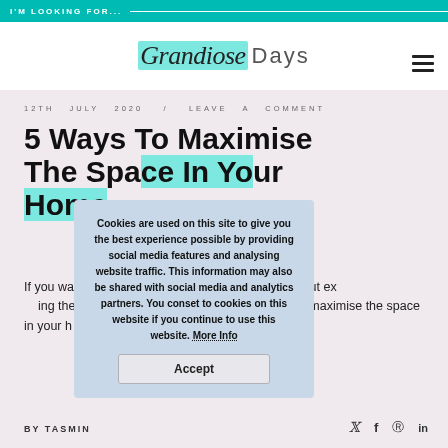I'M LOOKING FOR...
Grandiose Days
12TH JULY 2020 / LEAVE A COMMENT
5 Ways To Maximise The Space In Your Home
If you want to make the most of your house, without extending or adding the extra room, here are five different ways to maximise the space in your home, no matter how big or small it may be.
Cookies are used on this site to give you the best experience possible by providing social media features and analysing website traffic. This information may also be shared with social media and analytics partners. You conset to cookies on this website if you continue to use this website. More Info
Accept
BY TASMIN